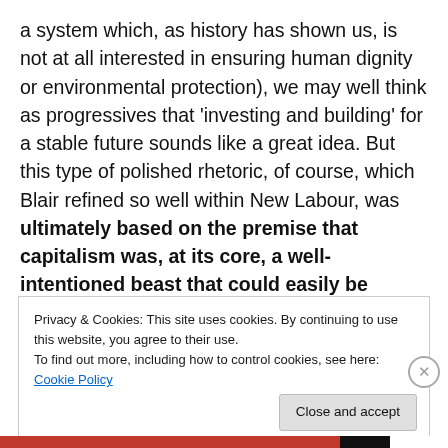a system which, as history has shown us, is not at all interested in ensuring human dignity or environmental protection), we may well think as progressives that 'investing and building' for a stable future sounds like a great idea. But this type of polished rhetoric, of course, which Blair refined so well within New Labour, was ultimately based on the premise that capitalism was, at its core, a well-intentioned beast that could easily be tamed (an idea that is not backed up by historical evidence).
Privacy & Cookies: This site uses cookies. By continuing to use this website, you agree to their use.
To find out more, including how to control cookies, see here: Cookie Policy